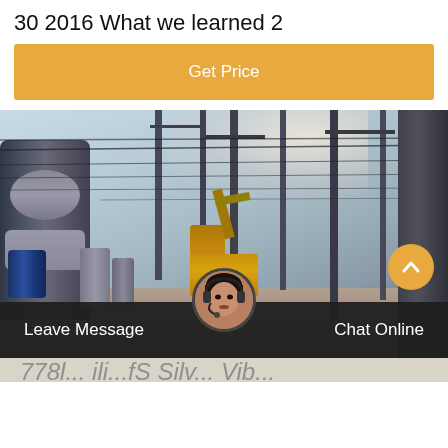30 2016 What we learned 2
[Figure (other): Orange button with text 'Get Price' on golden/amber background]
[Figure (photo): Electrical substation or power transmission facility with tall metal towers, high-voltage equipment, power lines/cables, a yellow truck/crane vehicle in the middle, large gray cylindrical transformer equipment on the left, and blue barrels at the bottom left. Outdoor industrial setting with clear sky.]
[Figure (other): Dark bottom bar overlay with 'Leave Message' on left, customer service representative avatar photo in center circle, 'Chat Online' on right, and an orange scroll-to-top button on the far right]
Leave Message
Chat Online